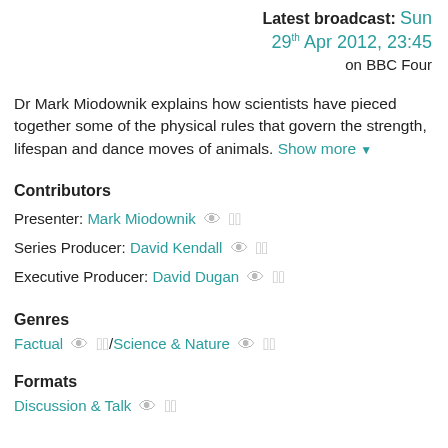Latest broadcast: Sun 29th Apr 2012, 23:45 on BBC Four
Dr Mark Miodownik explains how scientists have pieced together some of the physical rules that govern the strength, lifespan and dance moves of animals. Show more
Contributors
Presenter: Mark Miodownik
Series Producer: David Kendall
Executive Producer: David Dugan
Genres
Factual / Science & Nature
Formats
Discussion & Talk